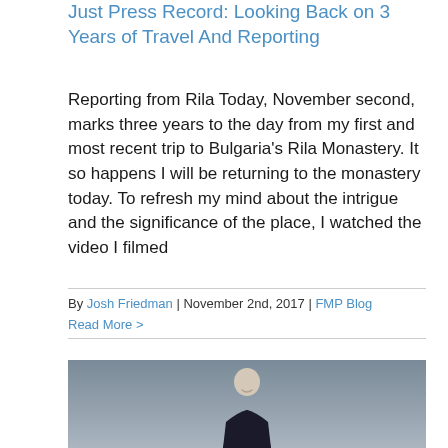Just Press Record: Looking Back on 3 Years of Travel And Reporting
Reporting from Rila Today, November second, marks three years to the day from my first and most recent trip to Bulgaria's Rila Monastery. It so happens I will be returning to the monastery today. To refresh my mind about the intrigue and the significance of the place, I watched the video I filmed
By Josh Friedman | November 2nd, 2017 | FMP Blog
Read More >
[Figure (photo): A man standing and smiling in front of a grey cloudy sky, wearing a dark jacket]